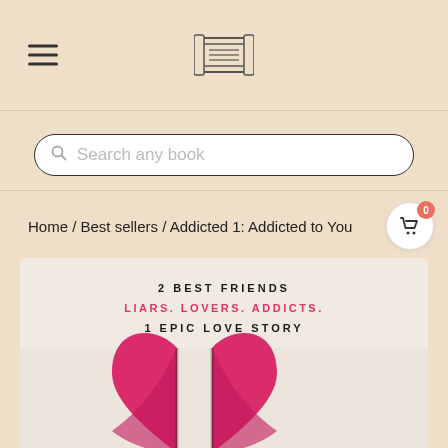Navigation header with hamburger menu and scroll/book logo
Search any book
Home / Best sellers / Addicted 1: Addicted to You
[Figure (illustration): Book cover for 'Addicted 1: Addicted to You' showing two pink/red paper hearts broken in half, with taglines: '2 BEST FRIENDS', 'LIARS. LOVERS. ADDICTS.', '1 EPIC LOVE STORY' on a textured white/grey background]